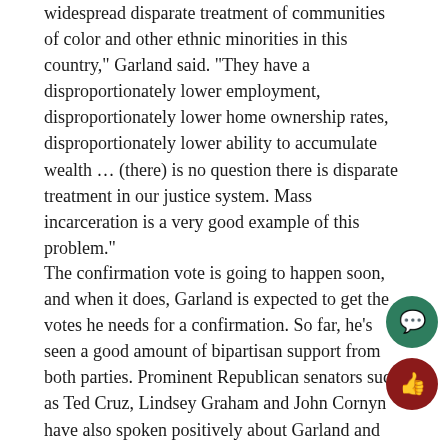widespread disparate treatment of communities of color and other ethnic minorities in this country," Garland said. "They have a disproportionately lower employment, disproportionately lower home ownership rates, disproportionately lower ability to accumulate wealth … (there) is no question there is disparate treatment in our justice system. Mass incarceration is a very good example of this problem."
The confirmation vote is going to happen soon, and when it does, Garland is expected to get the votes he needs for a confirmation. So far, he's seen a good amount of bipartisan support from both parties. Prominent Republican senators such as Ted Cruz, Lindsey Graham and John Cornyn have also spoken positively about Garland and his qualifications for the job during the confirmation hearings thus far. Even McConnell, who had blocked his Supreme Court vote, has said that he plans to back Garland.